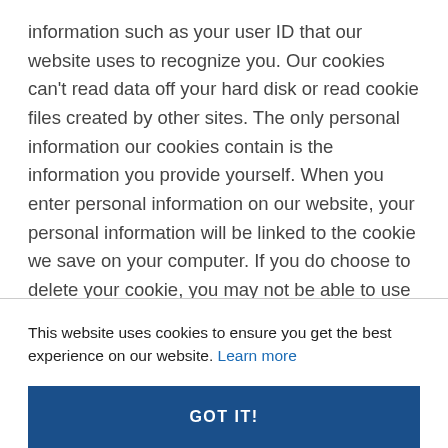information such as your user ID that our website uses to recognize you. Our cookies can't read data off your hard disk or read cookie files created by other sites. The only personal information our cookies contain is the information you provide yourself. When you enter personal information on our website, your personal information will be linked to the cookie we save on your computer. If you do choose to delete your cookie, you may not be able to use the administrative features of the website.
This website uses cookies to ensure you get the best experience on our website. Learn more
GOT IT!